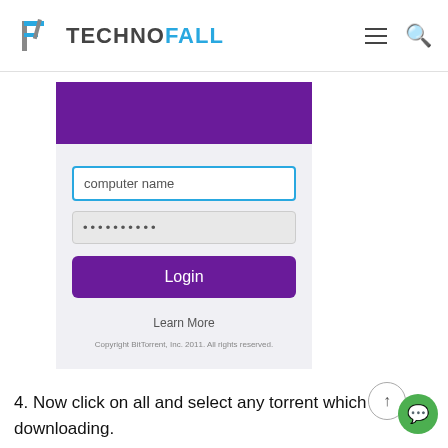TechnoFall
[Figure (screenshot): Screenshot of a BitTorrent Remote login interface showing a computer name input field, password field with dots, a purple Login button, a Learn More link, and a copyright notice. The top has a purple banner.]
4. Now click on all and select any torrent which is downloading.